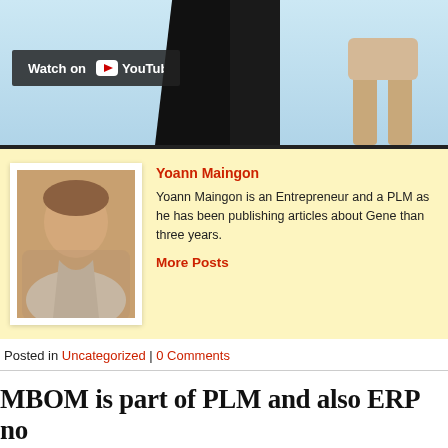[Figure (screenshot): Top portion of a blog page with a YouTube video thumbnail showing a light blue background with silhouettes, and a 'Watch on YouTube' overlay button.]
Yoann Maingon
Yoann Maingon is an Entrepreneur and a PLM as he has been publishing articles about Gene than three years.
More Posts
Posted in Uncategorized | 0 Comments
MBOM is part of PLM and also ERP no needed about it
Posted on November 14, 2014